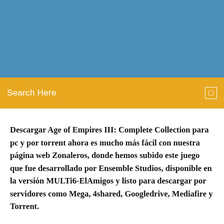[Figure (other): Blue header banner background]
Search Here
Descargar Age of Empires III: Complete Collection para pc y por torrent ahora es mucho más fácil con nuestra página web Zonaleros, donde hemos subido este juego que fue desarrollado por Ensemble Studios, disponible en la versión MULTi6-ElAmigos y listo para descargar por servidores como Mega, 4shared, Googledrive, Mediafire y Torrent.